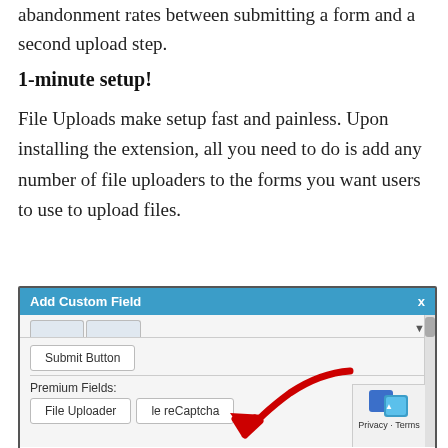abandonment rates between submitting a form and a second upload step.
1-minute setup!
File Uploads make setup fast and painless. Upon installing the extension, all you need to do is add any number of file uploaders to the forms you want users to use to upload files.
[Figure (screenshot): Screenshot of 'Add Custom Field' dialog box with a blue header, showing 'Submit Button' field and 'Premium Fields' section with 'File Uploader' and partially visible 'ile reCaptcha' buttons. A large red arrow points to the 'File Uploader' button. A Google privacy badge is visible in the bottom right corner.]